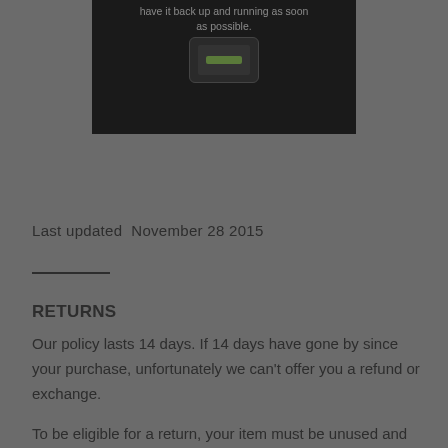[Figure (screenshot): Dark phone mockup screenshot showing text 'have it back up and running as soon as possible.' with a button, on a dark background]
Last updated  November 28 2015
RETURNS
Our policy lasts 14 days. If 14 days have gone by since your purchase, unfortunately we can't offer you a refund or exchange.
To be eligible for a return, your item must be unused and